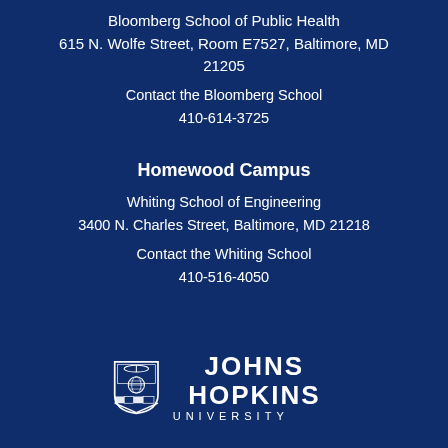Bloomberg School of Public Health
615 N. Wolfe Street, Room E7527, Baltimore, MD 21205
Contact the Bloomberg School
410-614-3725
Homewood Campus
Whiting School of Engineering
3400 N. Charles Street, Baltimore, MD 21218
Contact the Whiting School
410-516-4050
[Figure (logo): Johns Hopkins University shield logo with text 'JOHNS HOPKINS UNIVERSITY']